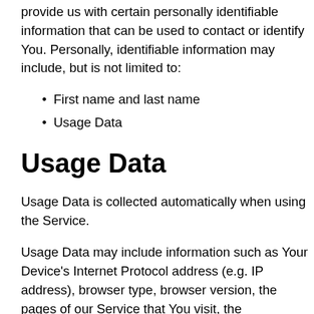provide us with certain personally identifiable information that can be used to contact or identify You. Personally, identifiable information may include, but is not limited to:
First name and last name
Usage Data
Usage Data
Usage Data is collected automatically when using the Service.
Usage Data may include information such as Your Device's Internet Protocol address (e.g. IP address), browser type, browser version, the pages of our Service that You visit, the